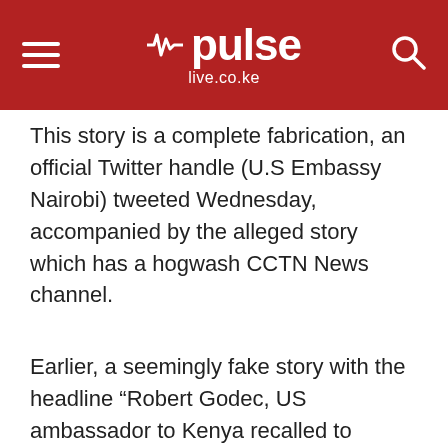[Figure (logo): Pulse live.co.ke logo on red header background with hamburger menu icon on left and search icon on right]
This story is a complete fabrication, an official Twitter handle (U.S Embassy Nairobi) tweeted Wednesday, accompanied by the alleged story which has a hogwash CCTN News channel.
Earlier, a seemingly fake story with the headline “Robert Godec, US ambassador to Kenya recalled to Washington” was widely shared on social media on Wednesday, a few hours to the highly watched elections in Kenya.
The new development comes in the wake of heightened anxiety amongst Kenyans and the international; community owing to the political situation on Kenya.
On Tuesday evening, hundreds of overserves were